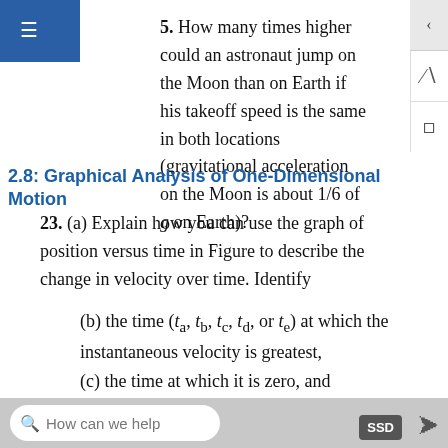5. How many times higher could an astronaut jump on the Moon than on Earth if his takeoff speed is the same in both locations (gravitational acceleration on the Moon is about 1/6 of g on Earth)?
2.8: Graphical Analysis of One-Dimensional Motion
23. (a) Explain how you can use the graph of position versus time in Figure to describe the change in velocity over time. Identify
(b) the time (t_a, t_b, t_c, t_d, or t_e) at which the instantaneous velocity is greatest,
(c) the time at which it is zero, and
(d) the time at which it is negative.
How can we help